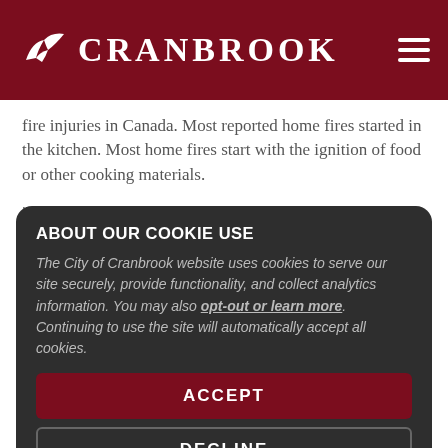CRANBROOK
fire injuries in Canada. Most reported home fires started in the kitchen. Most home fires start with the ignition of food or other cooking materials.
“We know cooking fires can be prevented,” said Lorraine Carli, vice-president of outreach and advocacy… the kitchen while cooking, using a timer, and avoiding distractions such as… can take to ke…
Cranbrook… all residents and… Prevention Week theme.
“The most important step you should take before making a meal is to ‘Serve Up Fire Safety in the Kitchen!’” said Scott D… or Cranbrook Fire &
ABOUT OUR COOKIE USE
The City of Cranbrook website uses cookies to serve our site securely, provide functionality, and collect analytics information. You may also opt-out or learn more. Continuing to use the site will automatically accept all cookies.
ACCEPT
DECLINE